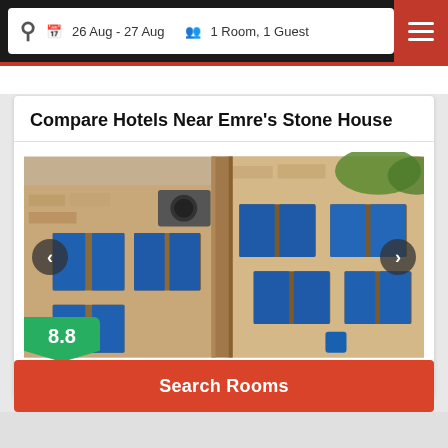26 Aug - 27 Aug   1 Room, 1 Guest
Compare Hotels Near Emre's Stone House
[Figure (photo): Exterior photo of a stone building with blue shuttered windows and air conditioning units mounted on the facade. A navigation carousel is shown with left and right arrows. A green rating badge shows 8.8.]
Very good   332 reviews   0.0 km
Search Rooms